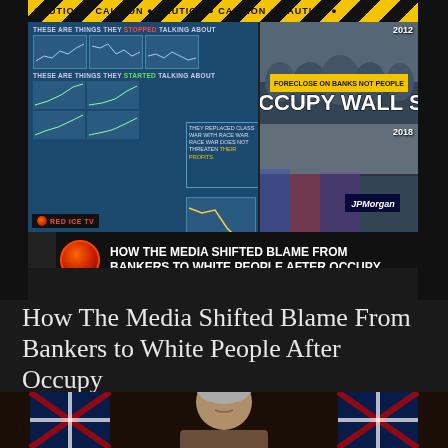[Figure (screenshot): Screenshot of Red Ice TV video thumbnail showing infographic about media blame shift from bankers to white people after Occupy movement, with protest images from 2012 and 2018, caution tape, and podcast host]
How The Media Shifted Blame From Bankers to White People After Occupy
[Figure (photo): Photo of a woman (Theresa May) speaking at a podium with UK Union Jack flags in the background]